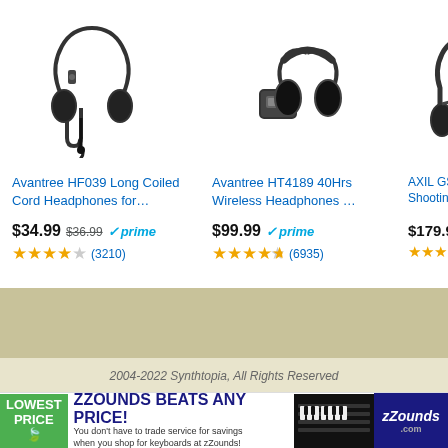[Figure (photo): Avantree HF039 wired headphones with long coiled cord]
Avantree HF039 Long Coiled Cord Headphones for…
$34.99 $36.99 ✓prime ★★★★☆ (3210)
[Figure (photo): Avantree HT4189 wireless headphones with transmitter base]
Avantree HT4189 40Hrs Wireless Headphones …
$99.99 ✓prime ★★★★½ (6935)
[Figure (photo): AXIL GS Extreme shooting ear protection headphones]
AXIL GS Extr... Shooting Ear...
$179.99 ✓pr... ★★★★☆
2004-2022 Synthtopia, All Rights Reserved
[Figure (infographic): zZounds advertisement: LOWEST PRICE — ZZOUNDS BEATS ANY PRICE! You don't have to trade service for savings when you shop for keyboards at zZounds!]